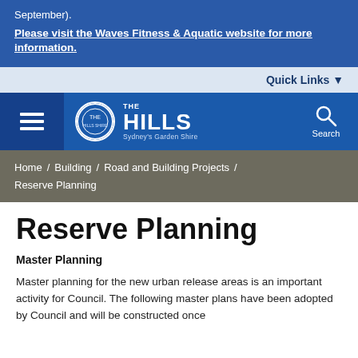September).
Please visit the Waves Fitness & Aquatic website for more information.
Quick Links
[Figure (logo): The Hills Sydney's Garden Shire council logo with hamburger menu and search icon]
Home / Building / Road and Building Projects / Reserve Planning
Reserve Planning
Master Planning
Master planning for the new urban release areas is an important activity for Council. The following master plans have been adopted by Council and will be constructed once